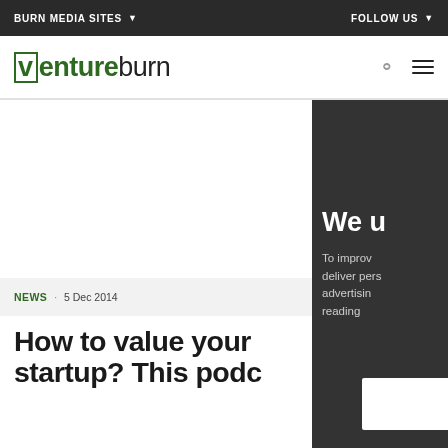BURN MEDIA SITES ▾    FOLLOW US ▾
[Figure (logo): Ventureburn logo — 'venture' in green bold with boxed V, 'burn' in dark normal weight, with search and hamburger menu icons]
NEWS · 5 Dec 2014
How to value your startup? This podc…
We u
To improv deliver pers advertisin reading